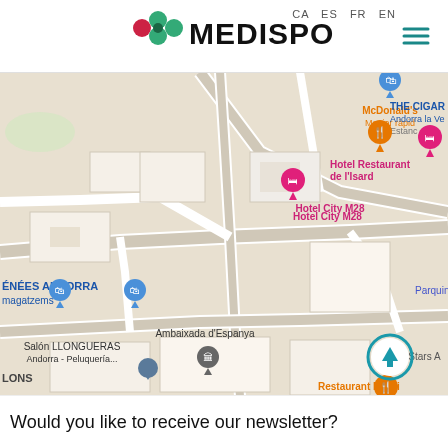CA  ES  FR  EN
[Figure (logo): Medisport logo with colorful dots and bold MEDISPORT text]
[Figure (map): Google Maps screenshot showing Andorra la Vella area with markers for Hotel City M28, Hotel Restaurant de l'Isard, McDonald's Menjar ràpid, THE CIGAR S Andorra la Ve Estanc, Salón LLONGUERAS Andorra - Peluquería..., Ambaixada d'Espanya, Restaurant L'Orri, Bingo Stars A, Parquing, ÉNÉES ANDORRA magatzems, LONS. Also has a teal upward arrow button.]
Would you like to receive our newsletter?